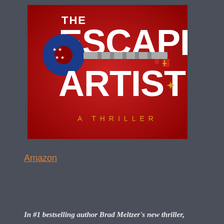[Figure (illustration): Book cover for 'The Escape Artist: A Thriller' by Brad Meltzer. Red background with large white bold text 'THE ESCAPE ARTIST' and a decorative key with American flag motif (blue and white stars on the bow, metallic shaft with a small red and gold cross-shaped bit). Below the key, gold/yellow spaced text reads 'A THRILLER'.]
Amazon
In #1 bestselling author Brad Meltzer's new thriller,